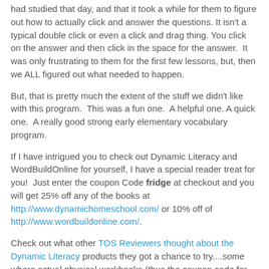had studied that day, and that it took a while for them to figure out how to actually click and answer the questions. It isn't a typical double click or even a click and drag thing. You click on the answer and then click in the space for the answer.  It was only frustrating to them for the first few lessons, but, then we ALL figured out what needed to happen.
But, that is pretty much the extent of the stuff we didn't like with this program.  This was a fun one.  A helpful one. A quick one.  A really good strong early elementary vocabulary program.
If I have intrigued you to check out Dynamic Literacy and WordBuildOnline for yourself, I have a special reader treat for you!  Just enter the coupon Code fridge at checkout and you will get 25% off any of the books at http://www.dynamichomeschool.com/ or 10% off of http://www.wordbuildonline.com/.
Check out what other TOS Reviewers thought about the Dynamic Literacy products they got a chance to try....some where actual physical workbooks (thus the coupon code for